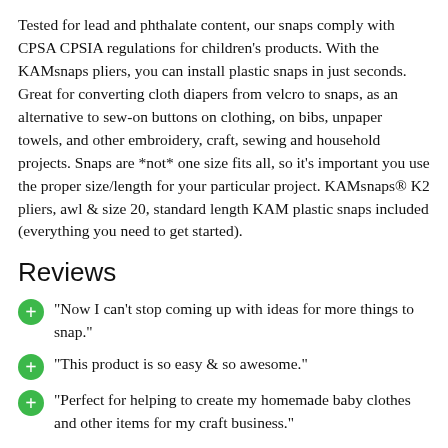Tested for lead and phthalate content, our snaps comply with CPSA CPSIA regulations for children's products. With the KAMsnaps pliers, you can install plastic snaps in just seconds. Great for converting cloth diapers from velcro to snaps, as an alternative to sew-on buttons on clothing, on bibs, unpaper towels, and other embroidery, craft, sewing and household projects. Snaps are *not* one size fits all, so it's important you use the proper size/length for your particular project. KAMsnaps® K2 pliers, awl & size 20, standard length KAM plastic snaps included (everything you need to get started).
Reviews
"Now I can't stop coming up with ideas for more things to snap."
"This product is so easy & so awesome."
"Perfect for helping to create my homemade baby clothes and other items for my craft business."